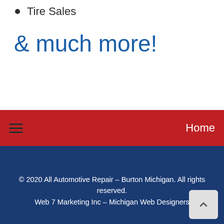Tire Sales
& much more!
Home
© 2020 All Automotive Repair – Burton Michigan. All rights reserved.
Web 7 Marketing Inc – Michigan Web Designers